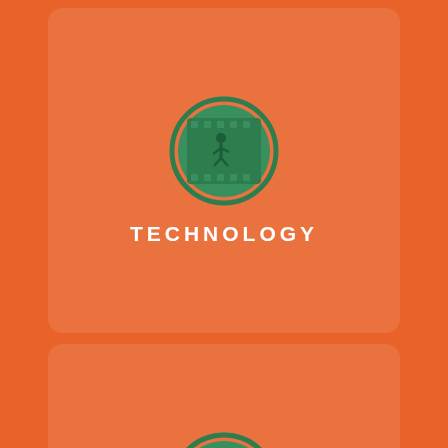[Figure (illustration): Green circle badge with a film strip icon showing a running figure, on orange background, inside a rounded rectangle card]
TECHNOLOGY
[Figure (illustration): Green circle badge with Star Wars / Minecraft themed logos and superhero icons (Batman, Superman) text reads 'STAR WARS MINECRAFT', on orange background, inside a rounded rectangle card]
THEMES
[Figure (illustration): Green circle badge with a film strip icon showing a running figure, on orange background, inside a rounded rectangle card (partially visible at bottom)]